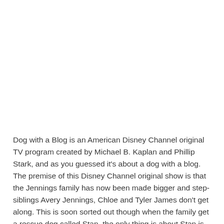Dog with a Blog is an American Disney Channel original TV program created by Michael B. Kaplan and Phillip Stark, and as you guessed it's about a dog with a blog. The premise of this Disney Channel original show is that the Jennings family has now been made bigger and step-siblings Avery Jennings, Chloe and Tyler James don't get along. This is soon sorted out though when the family get a rescue dog called Stan, the only thing is about Stan is that he can talk which the children keep a secret from their parents. However at first none of the family realize that